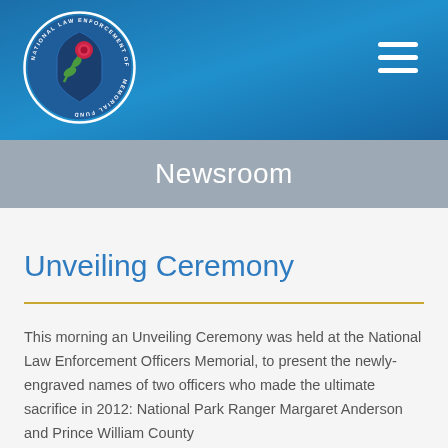[Figure (logo): National Law Enforcement Officers Memorial Fund circular logo with shield and rose emblem]
Newsroom
Unveiling Ceremony
This morning an Unveiling Ceremony was held at the National Law Enforcement Officers Memorial, to present the newly-engraved names of two officers who made the ultimate sacrifice in 2012: National Park Ranger Margaret Anderson and Prince William County